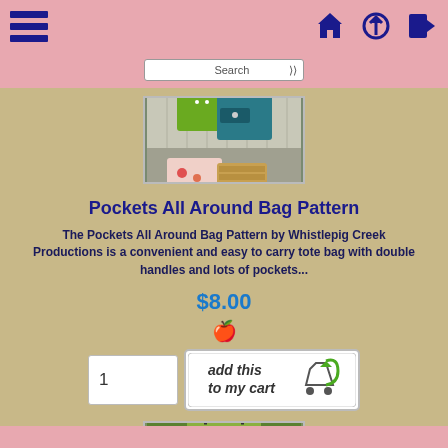Navigation header with hamburger menu and icons
[Figure (photo): Photo of several tote bags in green, teal, and floral patterns displayed together]
Pockets All Around Bag Pattern
The Pockets All Around Bag Pattern by Whistlepig Creek Productions is a convenient and easy to carry tote bag with double handles and lots of pockets...
$8.00
[Figure (photo): Add to cart button with cart icon and green arrow]
[Figure (photo): Partial photo of another bag pattern at bottom]